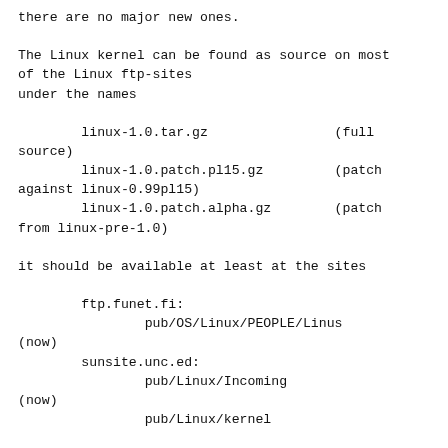there are no major new ones.

The Linux kernel can be found as source on most of the Linux ftp-sites
under the names

        linux-1.0.tar.gz                (full source)
        linux-1.0.patch.pl15.gz         (patch against linux-0.99pl15)
        linux-1.0.patch.alpha.gz        (patch from linux-pre-1.0)

it should be available at least at the sites

        ftp.funet.fi:
                pub/OS/Linux/PEOPLE/Linus (now)
        sunsite.unc.ed:
                pub/Linux/Incoming (now)
                pub/Linux/kernel